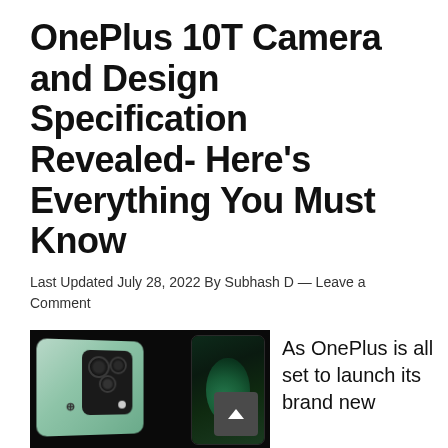OnePlus 10T Camera and Design Specification Revealed- Here's Everything You Must Know
Last Updated July 28, 2022 By Subhash D — Leave a Comment
[Figure (photo): Two OnePlus 10T smartphones shown against a black background — one showing the back with a large square camera module with three lenses, in a mint green color; the other showing the front screen with a floral/green display wallpaper.]
As OnePlus is all set to launch its brand new